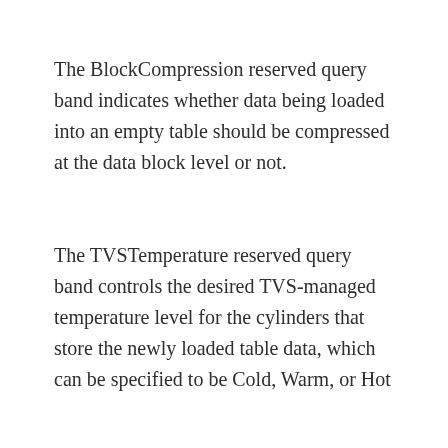The BlockCompression reserved query band indicates whether data being loaded into an empty table should be compressed at the data block level or not.
The TVSTemperature reserved query band controls the desired TVS-managed temperature level for the cylinders that store the newly loaded table data, which can be specified to be Cold, Warm, or Hot